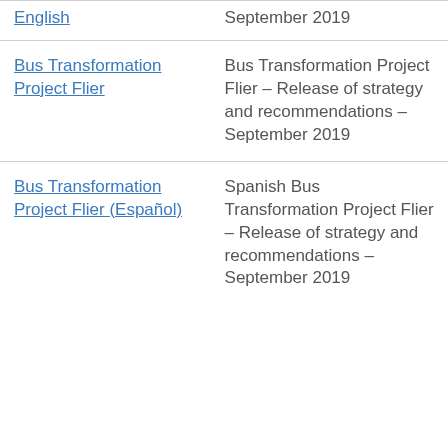| English | September 2019 |
| Bus Transformation Project Flier | Bus Transformation Project Flier – Release of strategy and recommendations – September 2019 |
| Bus Transformation Project Flier (Español) | Spanish Bus Transformation Project Flier – Release of strategy and recommendations – September 2019 |